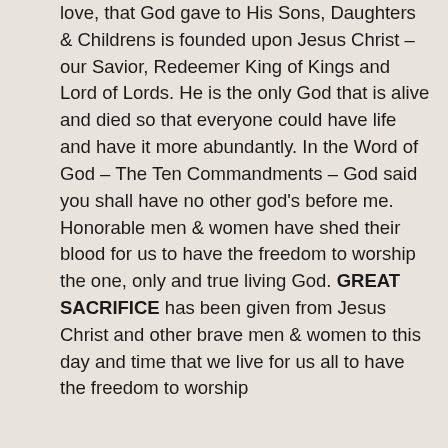love, that God gave to His Sons, Daughters & Childrens is founded upon Jesus Christ – our Savior, Redeemer King of Kings and Lord of Lords. He is the only God that is alive and died so that everyone could have life and have it more abundantly. In the Word of God – The Ten Commandments – God said you shall have no other god's before me. Honorable men & women have shed their blood for us to have the freedom to worship the one, only and true living God. GREAT SACRIFICE has been given from Jesus Christ and other brave men & women to this day and time that we live for us all to have the freedom to worship